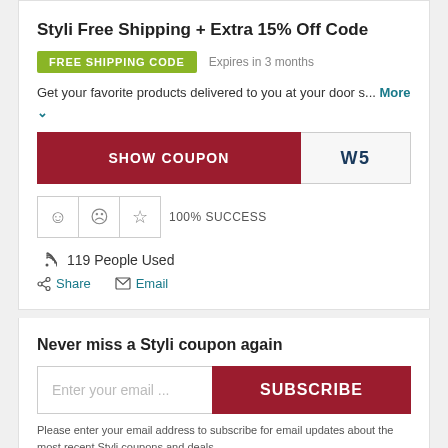Styli Free Shipping + Extra 15% Off Code
FREE SHIPPING CODE   Expires in 3 months
Get your favorite products delivered to you at your door s... More
SHOW COUPON  W5
☺ ☹ ☆ 100% SUCCESS
119 People Used
Share   Email
Never miss a Styli coupon again
Enter your email ...   SUBSCRIBE
Please enter your email address to subscribe for email updates about the most recent Styli coupons and deals.